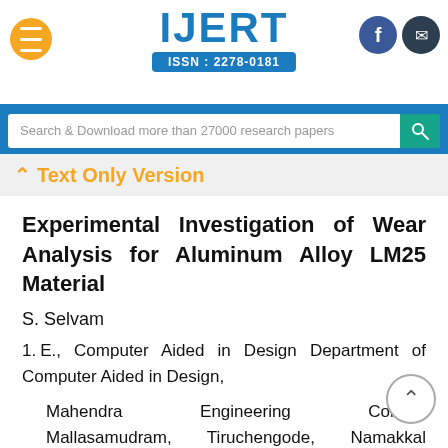IJERT ISSN: 2278-0181
Search & Download more than 27000 research papers
Text Only Version
Experimental Investigation of Wear Analysis for Aluminum Alloy LM25 Material
S. Selvam
1. E., Computer Aided in Design Department of Computer Aided in Design,
Mahendra Engineering College Mallasamudram, Tiruchengode, Namakkal District,